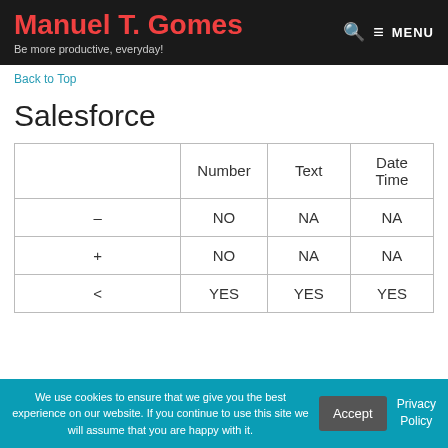Manuel T. Gomes — Be more productive, everyday!
Back to Top
Salesforce
|  | Number | Text | Date Time |
| --- | --- | --- | --- |
| – | NO | NA | NA |
| + | NO | NA | NA |
| < | YES | YES | YES |
We use cookies to ensure that we give you the best experience on our website. If you continue to use this site we will assume that you are happy with it.